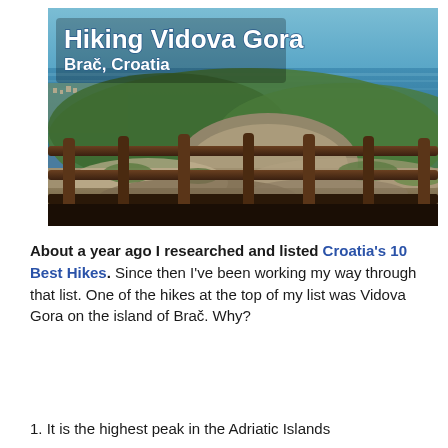[Figure (photo): Aerial view from Vidova Gora peak on island of Brač, Croatia. Foreground shows a rustic wooden railing/fence on rocky terrain with sparse vegetation. Middle ground shows green hills and coastal town. Background shows brilliant blue Adriatic Sea. Title text overlaid: 'Hiking Vidova Gora' and 'Brač, Croatia'.]
About a year ago I researched and listed Croatia's 10 Best Hikes. Since then I've been working my way through that list. One of the hikes at the top of my list was Vidova Gora on the island of Brač. Why?
1. It is the highest peak in the Adriatic Islands